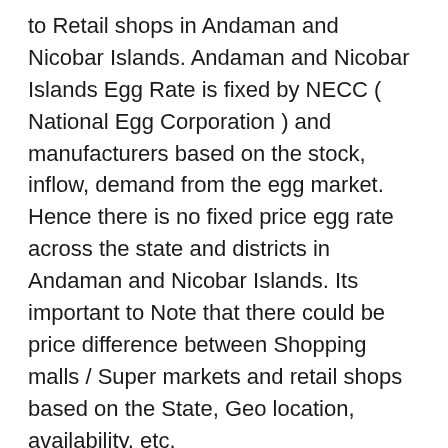to Retail shops in Andaman and Nicobar Islands. Andaman and Nicobar Islands Egg Rate is fixed by NECC ( National Egg Corporation ) and manufacturers based on the stock, inflow, demand from the egg market. Hence there is no fixed price egg rate across the state and districts in Andaman and Nicobar Islands. Its important to Note that there could be price difference between Shopping malls / Super markets and retail shops based on the State, Geo location, availability, etc.
As we know well, There are no Taxes for Egg production and selling in India , hence GST exempted for all variety of Eggs. We Provide Egg daily rates for states like Telangana, Himachal Pradesh and Puducherry, Goa, Haryana, Maharashtra, Kerala, Chhattisgarh, Madhya Pradesh, Tripura, Rajasthan, Nagaland, Mizoram, Sikkim, Bihar, Gujarat, Uttarakhand, Tamil Nadu, Odisha Manipur, Arunachal Pradesh, West Bengal, Karnataka, Punjab, Delhi, Assam, Andhra Pradesh, Jharkhand, Meghalaya, Uttar Pradesh, and Jammu And Kashmir.